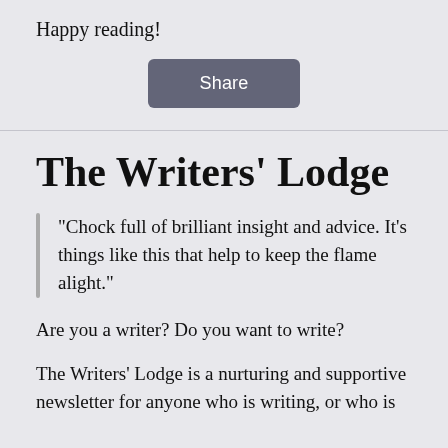Happy reading!
[Figure (other): A Share button with rounded rectangle dark grey background and white text]
The Writers’ Lodge
“Chock full of brilliant insight and advice. It’s things like this that help to keep the flame alight.”
Are you a writer? Do you want to write?
The Writers’ Lodge is a nurturing and supportive newsletter for anyone who is writing, or who is